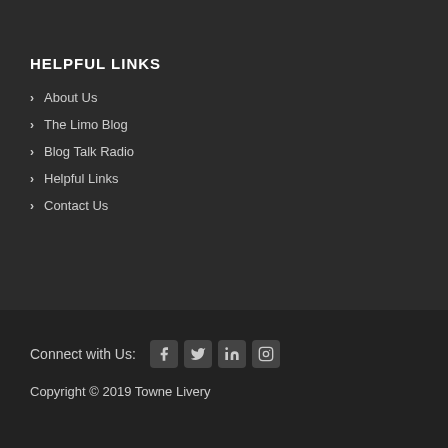HELPFUL LINKS
About Us
The Limo Blog
Blog Talk Radio
Helpful Links
Contact Us
Connect with Us:
Copyright © 2019 Towne Livery